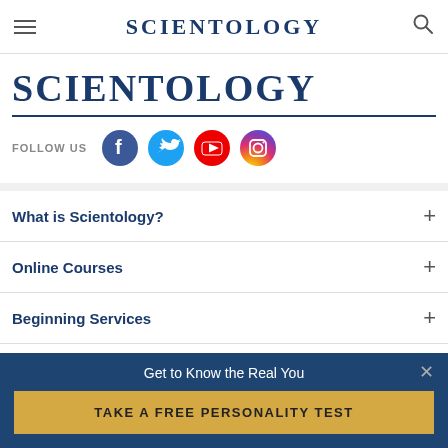SCIENTOLOGY
[Figure (logo): Scientology logo — large serif small-caps text in dark navy blue]
[Figure (infographic): FOLLOW US row with Facebook, Twitter, YouTube, and Instagram social media icons]
What is Scientology?
Online Courses
Beginning Services
Bookstore
Scientology Today
Get to Know the Real You
TAKE A FREE PERSONALITY TEST